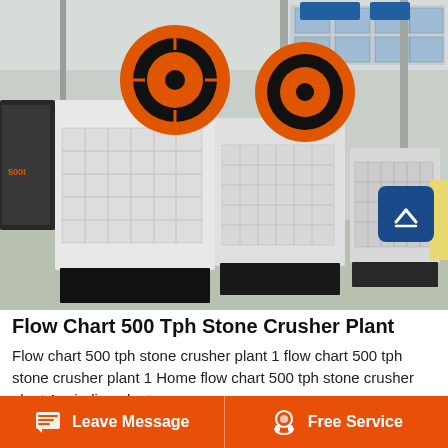[Figure (photo): Industrial factory floor showing multiple large jaw crusher machines with orange and black flywheels, white painted bodies, mounted on black steel bases. Industrial building interior with steel structure, natural light from windows.]
Flow Chart 500 Tph Stone Crusher Plant
Flow chart 500 tph stone crusher plant 1 flow chart 500 tph stone crusher plant 1 Home flow chart 500 tph stone crusher plant 1 grinding plant
Leave Message   Free Service